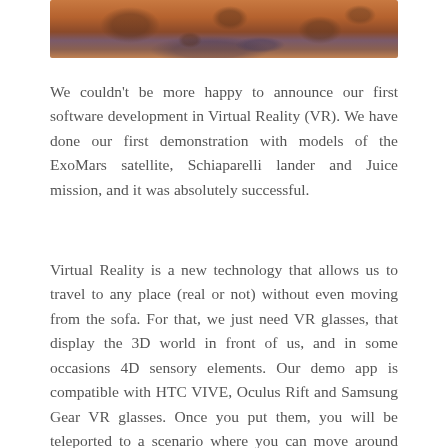[Figure (photo): Aerial/satellite photo of the Mars surface showing craters and orange-brown terrain with darker regions]
We couldn't be more happy to announce our first software development in Virtual Reality (VR). We have done our first demonstration with models of the ExoMars satellite, Schiaparelli lander and Juice mission, and it was absolutely successful.
Virtual Reality is a new technology that allows us to travel to any place (real or not) without even moving from the sofa. For that, we just need VR glasses, that display the 3D world in front of us, and in some occasions 4D sensory elements. Our demo app is compatible with HTC VIVE, Oculus Rift and Samsung Gear VR glasses. Once you put them, you will be teleported to a scenario where you can move around and examine different spacecrafts. We choose to start with the ExoMars satellite, Schiaparelli lander